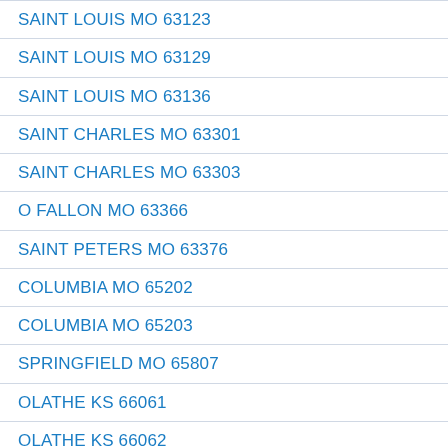SAINT LOUIS MO 63123
SAINT LOUIS MO 63129
SAINT LOUIS MO 63136
SAINT CHARLES MO 63301
SAINT CHARLES MO 63303
O FALLON MO 63366
SAINT PETERS MO 63376
COLUMBIA MO 65202
COLUMBIA MO 65203
SPRINGFIELD MO 65807
OLATHE KS 66061
OLATHE KS 66062
SALINA KS 67401